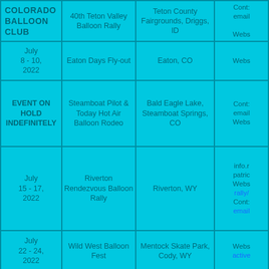| Date | Event | Location | Contact/Links |
| --- | --- | --- | --- |
| July 1 - 4, 2022 | 40th Teton Valley Balloon Rally | Teton County Fairgrounds, Driggs, ID | Contact email
Website |
| July 8 - 10, 2022 | Eaton Days Fly-out | Eaton, CO | Website |
| EVENT ON HOLD INDEFINITELY | Steamboat Pilot & Today Hot Air Balloon Rodeo | Bald Eagle Lake, Steamboat Springs, CO | Contact email
Website |
| July 15 - 17, 2022 | Riverton Rendezvous Balloon Rally | Riverton, WY | info.r
patric
Website
rally/
Contact
email |
| July 22 - 24, 2022 | Wild West Balloon Fest | Mentock Skate Park, Cody, WY | Website
active |
|  |  |  | Chris |